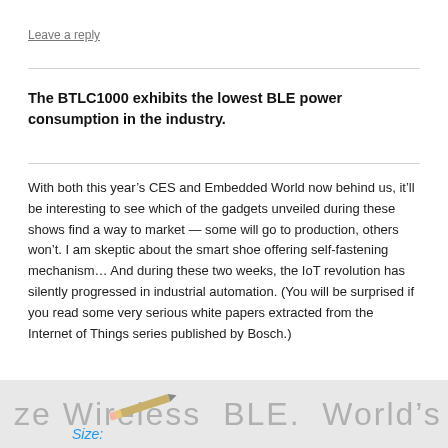Leave a reply
The BTLC1000 exhibits the lowest BLE power consumption in the industry.
With both this year’s CES and Embedded World now behind us, it’ll be interesting to see which of the gadgets unveiled during these shows find a way to market — some will go to production, others won’t. I am skeptic about the smart shoe offering self-fastening mechanism… And during these two weeks, the IoT revolution has silently progressed in industrial automation. (You will be surprised if you read some very serious white papers extracted from the Internet of Things series published by Bosch.)
[Figure (screenshot): Partial banner image showing text 'ze Wireless BLE. World’s Low' with a pencil and 'Size:' label in blue italic text]